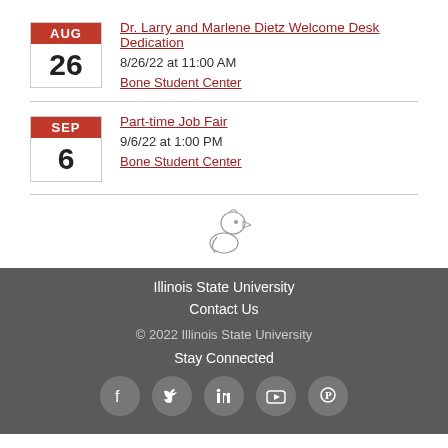Dr. Larry and Marlene Dietz Welcome Desk Dedication | 8/26/22 at 11:00 AM | Bone Student Center
Part-time Job Fair | 9/6/22 at 1:00 PM | Bone Student Center
[Figure (logo): Illinois State University Cardinal mascot logo in white/grey]
Illinois State University
Contact Us
© 2022 Illinois State University
Stay Connected
[Figure (infographic): Social media icons: Facebook, Twitter, LinkedIn, YouTube, Pinterest]